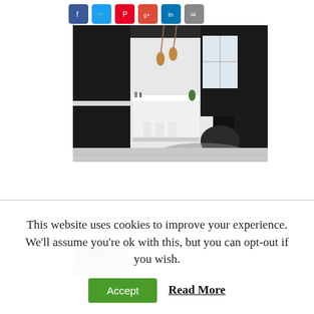[Figure (illustration): Row of social media sharing icon buttons: Facebook (blue), Twitter (light blue), Pinterest (red), Google+ (red-orange), LinkedIn (blue), Email/share (grey)]
[Figure (photo): Interior photo of a modern kitchen/living space with black cabinetry, white island with bar stools, pendant copper lights, and a dark lounge chair]
LATEST POSTS
[Figure (photo): Partially visible thumbnail of a post with green outdoor scene]
This website uses cookies to improve your experience. We'll assume you're ok with this, but you can opt-out if you wish.
Accept  Read More